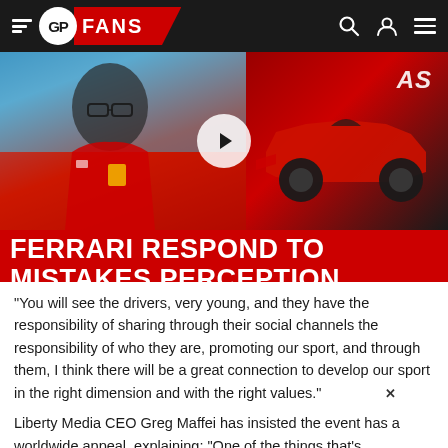GP FANS
[Figure (screenshot): Video thumbnail showing Ferrari team principal in red Ferrari jacket on left, Ferrari F1 car on right, with play button overlay, and red banner text reading 'FERRARI RESPOND TO MISTAKES PERCEPTION']
"You will see the drivers, very young, and they have the responsibility of sharing through their social channels the responsibility of who they are, promoting our sport, and through them, I think there will be a great connection to develop our sport in the right dimension and with the right values."
Liberty Media CEO Greg Maffei has insisted the event has a worldwide appeal, explaining: "One of the things that's